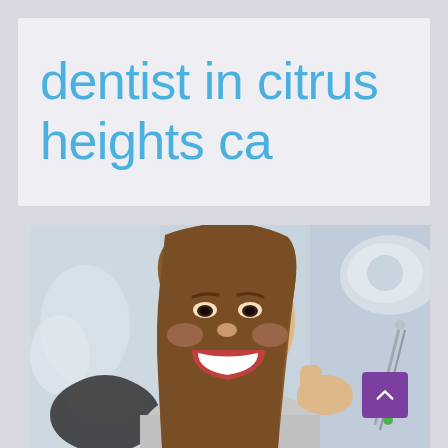dentist in citrus heights ca
[Figure (photo): Young woman smiling with thumbs up in a dental office chair, with dental equipment visible in the background]